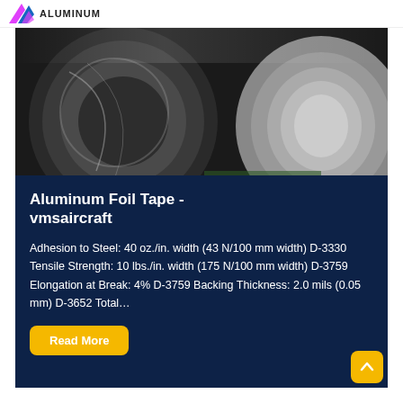ALUMINUM
[Figure (photo): Industrial aluminum foil rolls in a manufacturing facility, showing large metallic rolls of aluminum foil tape.]
Aluminum Foil Tape - vmsaircraft
Adhesion to Steel: 40 oz./in. width (43 N/100 mm width) D-3330 Tensile Strength: 10 lbs./in. width (175 N/100 mm width) D-3759 Elongation at Break: 4% D-3759 Backing Thickness: 2.0 mils (0.05 mm) D-3652 Total...
Read More